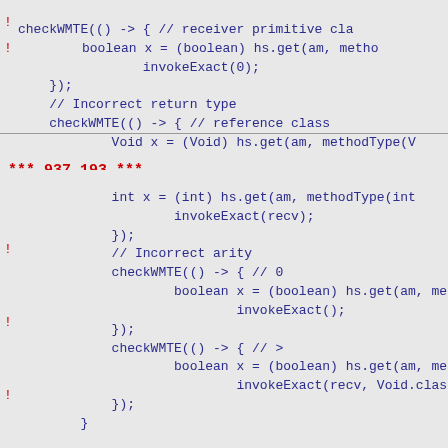checkWMTE(() -> { // receiver primitive class
    boolean x = (boolean) hs.get(am, method
        invokeExact(0);
});
// Incorrect return type
checkWMTE(() -> { // reference class
    Void x = (Void) hs.get(am, methodType(V
*** 937,193 ***
int x = (int) hs.get(am, methodType(int
        invokeExact(recv);
});
// Incorrect arity
checkWMTE(() -> { // 0
    boolean x = (boolean) hs.get(am, method
        invokeExact();
});
checkWMTE(() -> { // >
    boolean x = (boolean) hs.get(am, method
        invokeExact(recv, Void.class);
});
}

for (TestAccessMode am : testAccessModesOfType
    // Incorrect argument types
    checkNPE(() -> { // null receiver
        hs.get(am, methodType(void.class, VarHa
            invokeExact((VarHandleTestMethodTy
    });